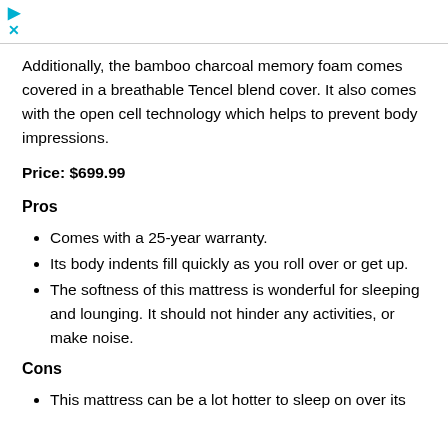Additionally, the bamboo charcoal memory foam comes covered in a breathable Tencel blend cover. It also comes with the open cell technology which helps to prevent body impressions.
Price: $699.99
Pros
Comes with a 25-year warranty.
Its body indents fill quickly as you roll over or get up.
The softness of this mattress is wonderful for sleeping and lounging. It should not hinder any activities, or make noise.
Cons
This mattress can be a lot hotter to sleep on over its